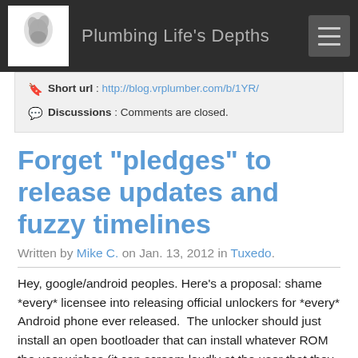Plumbing Life's Depths
Short url : http://blog.vrplumber.com/b/1YR/
Discussions : Comments are closed.
Forget "pledges" to release updates and fuzzy timelines
Written by Mike C. on Jan. 13, 2012 in Tuxedo.
Hey, google/android peoples. Here's a proposal: shame *every* licensee into releasing official unlockers for *every* Android phone ever released.  The unlocker should just install an open bootloader that can install whatever ROM the user wishes (it can scream loudly at the user that they are voiding their warranty, of course).